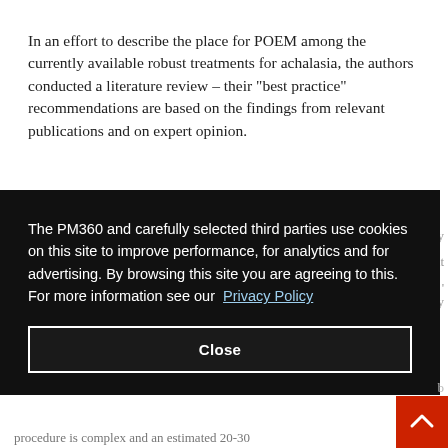In an effort to describe the place for POEM among the currently available robust treatments for achalasia, the authors conducted a literature review – their "best practice" recommendations are based on the findings from relevant publications and on expert opinion.
The PM360 and carefully selected third parties use cookies on this site to improve performance, for analytics and for advertising. By browsing this site you are agreeing to this. For more information see our Privacy Policy
Close
procedure is complex and an estimated 20-30